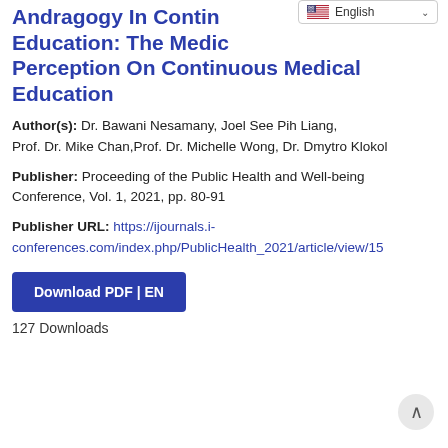Andragogy In Continuing Education: The Medical Teachers Perception On Continuous Medical Education
Author(s): Dr. Bawani Nesamany, Joel See Pih Liang, Prof. Dr. Mike Chan, Prof. Dr. Michelle Wong, Dr. Dmytro Klokol
Publisher: Proceeding of the Public Health and Well-being Conference, Vol. 1, 2021, pp. 80-91
Publisher URL: https://ijournals.i-conferences.com/index.php/PublicHealth_2021/article/view/15
Download PDF | EN
127 Downloads